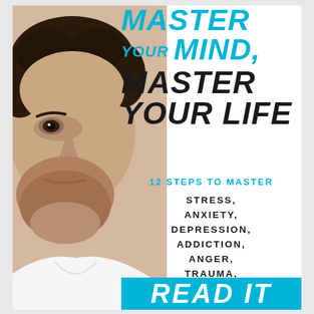[Figure (photo): Book cover featuring a close-up photo of a man's face (left half), with curly dark hair, beard stubble, wearing a white shirt, looking directly at camera. Background is white.]
MASTER YOUR MIND, MASTER YOUR LIFE
12 STEPS TO MASTER
STRESS, ANXIETY, DEPRESSION, ADDICTION, ANGER, TRAUMA, AND FEAR.
READ IT